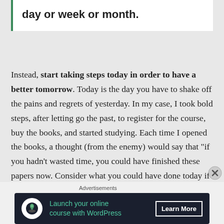day or week or month.
Instead, start taking steps today in order to have a better tomorrow. Today is the day you have to shake off the pains and regrets of yesterday. In my case, I took bold steps, after letting go the past, to register for the course, buy the books, and started studying. Each time I opened the books, a thought (from the enemy) would say that “if you hadn’t wasted time, you could have finished these papers now. Consider what you could have done today if you hadn’t
Advertisements
[Figure (other): Advertisement banner: dark navy background with a tree/person icon in a white circle, text 'Launch your online course with WordPress' in teal, and a 'Learn More' button.]